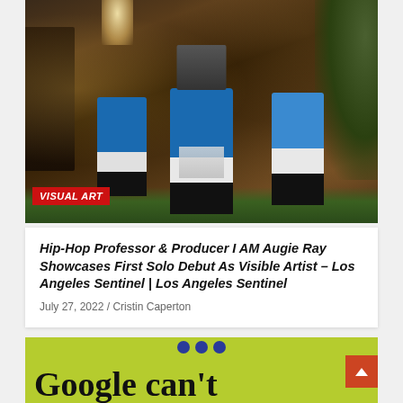[Figure (photo): Three men dressed in matching blue jackets and white shorts posed in a vintage-styled room with a piano, plants, lamp, and stereo. VISUAL ART label badge in bottom-left corner.]
Hip-Hop Professor & Producer I AM Augie Ray Showcases First Solo Debut As Visible Artist – Los Angeles Sentinel | Los Angeles Sentinel
July 27, 2022 / Cristin Caperton
[Figure (screenshot): Lime green background section with blue dots at top and large black serif text reading 'Google can't' with an orange scroll-to-top button in the corner.]